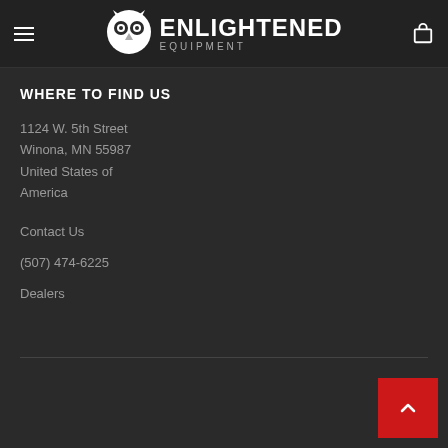ENLIGHTENED EQUIPMENT
WHERE TO FIND US
1124 W. 5th Street
Winona, MN 55987
United States of America
Contact Us
(507) 474-6225
Dealers